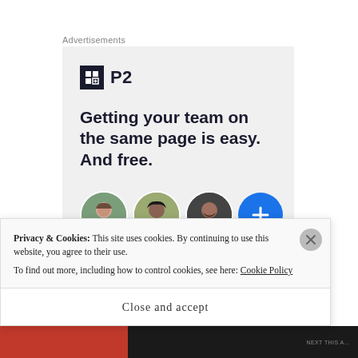Advertisements
[Figure (infographic): P2 advertisement showing P2 logo, headline text 'Getting your team on the same page is easy. And free.' and three circular profile photo avatars plus a blue plus-sign circle]
Privacy & Cookies: This site uses cookies. By continuing to use this website, you agree to their use.
To find out more, including how to control cookies, see here: Cookie Policy
Close and accept